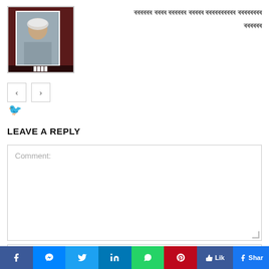[Figure (photo): Portrait photo of a man wearing a white cap, placed inside a dark red/maroon framed box with white inner border]
ৰৰৰৰৰৰ ৰৰৰৰ ৰৰৰৰৰৰ ৰৰৰৰৰ ৰৰৰৰৰৰৰৰৰৰ ৰৰৰৰৰৰৰৰ ৰৰৰৰৰৰ
LEAVE A REPLY
Comment:
Name:*